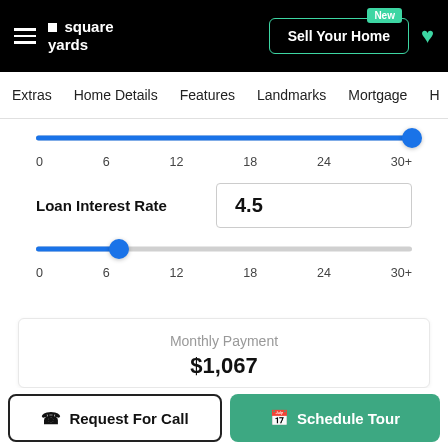Square Yards — Sell Your Home navigation bar
Extras | Home Details | Features | Landmarks | Mortgage | H
0  6  12  18  24  30+
Loan Interest Rate
4.5
0  6  12  18  24  30+
Monthly Payment
$1,067
Request For Call
Schedule Tour